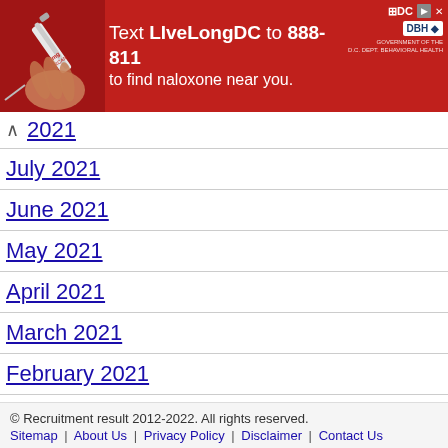[Figure (infographic): Red advertisement banner: Text LiveLongDC to 888-811 to find naloxone near you. DC Government / DBH logos visible on right.]
2021 (collapsed)
July 2021
June 2021
May 2021
April 2021
March 2021
February 2021
January 2021
December 2020
Latest Qualification Jobs
Select Pages (dropdown)
© Recruitment result 2012-2022. All rights reserved.
Sitemap | About Us | Privacy Policy | Disclaimer | Contact Us